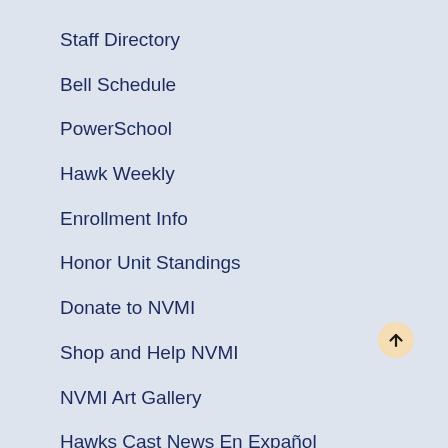Staff Directory
Bell Schedule
PowerSchool
Hawk Weekly
Enrollment Info
Honor Unit Standings
Donate to NVMI
Shop and Help NVMI
NVMI Art Gallery
Hawks Cast News En Expañol
[Figure (illustration): Scroll-to-top button: circular beige/tan button with an upward-pointing arrow icon]